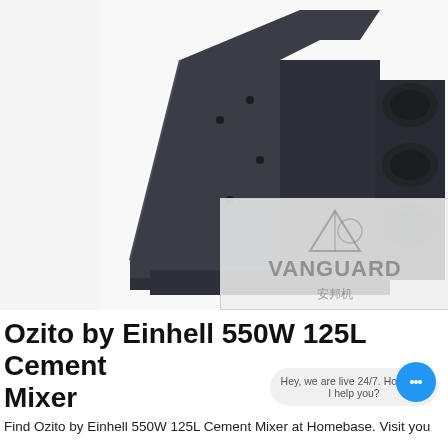[Figure (photo): Industrial jaw crusher or vibrating screen machine in dark grey/black, photographed from the front-right angle. A manufacturer watermark showing a triangular logo with 'VANGUARD' text and Chinese characters '安邦机' is visible in the lower right of the image.]
Ozito by Einhell 550W 125L Cement Mixer
Find Ozito by Einhell 550W 125L Cement Mixer at Homebase. Visit you